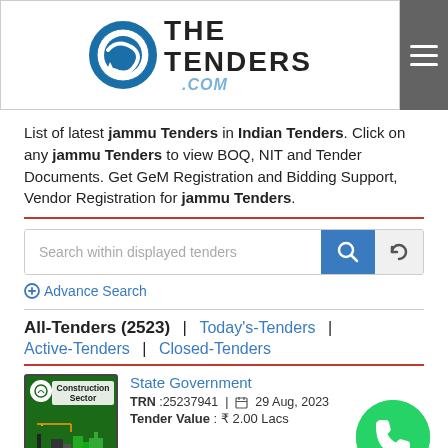[Figure (logo): TheTenders.com logo with blue oval icon and text]
List of latest jammu Tenders in Indian Tenders. Click on any jammu Tenders to view BOQ, NIT and Tender Documents. Get GeM Registration and Bidding Support, Vendor Registration for jammu Tenders.
Search within displayed tenders
⊕ Advance Search
All-Tenders (2523) | Today's-Tenders | Active-Tenders | Closed-Tenders
State Government
TRN :25237941 | 29 Aug, 2023
Tender Value : ₹ 2.00 Lacs